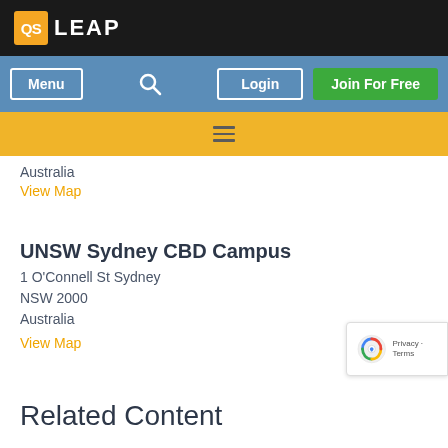[Figure (logo): QS LEAP logo in top black header bar]
[Figure (screenshot): Navigation bar with Menu button, search icon, Login button, Join For Free button]
[Figure (screenshot): Yellow sub-navigation bar with hamburger menu icon]
Australia
View Map
UNSW Sydney CBD Campus
1 O'Connell St Sydney
NSW 2000
Australia
View Map
Related Content
Similar Schools